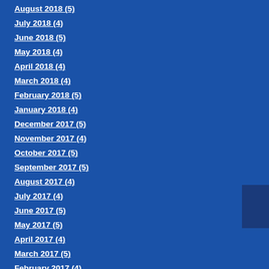August 2018 (5)
July 2018 (4)
June 2018 (5)
May 2018 (4)
April 2018 (4)
March 2018 (4)
February 2018 (5)
January 2018 (4)
December 2017 (5)
November 2017 (4)
October 2017 (5)
September 2017 (5)
August 2017 (4)
July 2017 (4)
June 2017 (5)
May 2017 (5)
April 2017 (4)
March 2017 (5)
February 2017 (4)